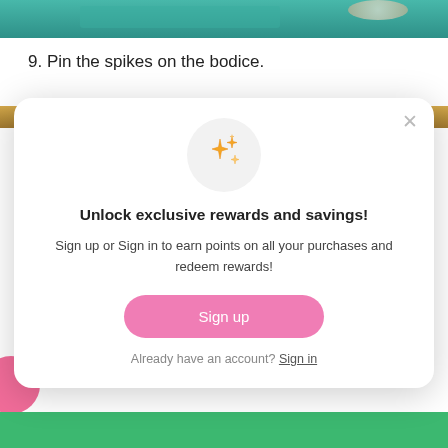[Figure (photo): Top portion of a craft/sewing photo showing teal/green fabric with spikes, partially cropped at top]
9. Pin the spikes on the bodice.
[Figure (photo): Partial photo of a wooden surface with gold/yellow strip border, partially obscured by modal]
[Figure (screenshot): Modal popup: 'Unlock exclusive rewards and savings!' with sparkle icon, sign up and sign in options]
[Figure (photo): Bottom strip of green fabric/material photo]